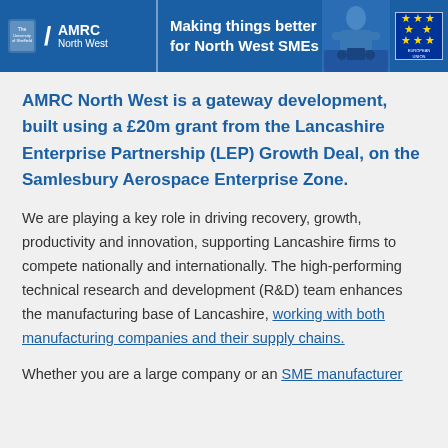[Figure (illustration): AMRC North West banner with logo on blue background, tagline 'Making things better for North West SMEs', worker image, and EU logo]
AMRC North West is a gateway development, built using a £20m grant from the Lancashire Enterprise Partnership (LEP) Growth Deal, on the Samlesbury Aerospace Enterprise Zone.
We are playing a key role in driving recovery, growth, productivity and innovation, supporting Lancashire firms to compete nationally and internationally. The high-performing technical research and development (R&D) team enhances the manufacturing base of Lancashire, working with both manufacturing companies and their supply chains.
Whether you are a large company or an SME manufacturer